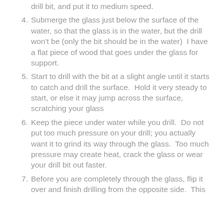drill bit, and put it to medium speed.
4. Submerge the glass just below the surface of the water, so that the glass is in the water, but the drill won't be (only the bit should be in the water)  I have a flat piece of wood that goes under the glass for support.
5. Start to drill with the bit at a slight angle until it starts to catch and drill the surface.  Hold it very steady to start, or else it may jump across the surface, scratching your glass
6. Keep the piece under water while you drill.  Do not put too much pressure on your drill; you actually want it to grind its way through the glass.  Too much pressure may create heat, crack the glass or wear your drill bit out faster.
7. Before you are completely through the glass, flip it over and finish drilling from the opposite side.  This